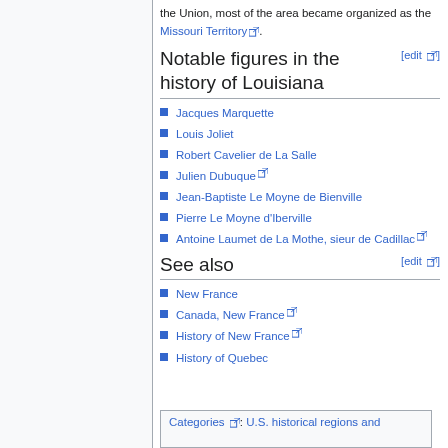the Union, most of the area became organized as the Missouri Territory.
Notable figures in the history of Louisiana
Jacques Marquette
Louis Joliet
Robert Cavelier de La Salle
Julien Dubuque
Jean-Baptiste Le Moyne de Bienville
Pierre Le Moyne d'Iberville
Antoine Laumet de La Mothe, sieur de Cadillac
See also
New France
Canada, New France
History of New France
History of Quebec
Categories: U.S. historical regions and